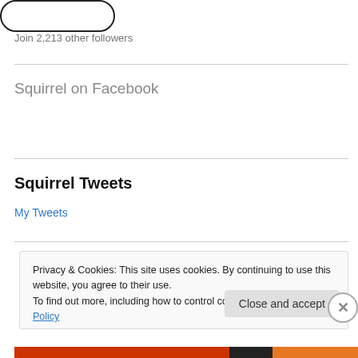[Figure (other): Rounded rectangle button outline at top]
Join 2,213 other followers
Squirrel on Facebook
Squirrel Tweets
My Tweets
Privacy & Cookies: This site uses cookies. By continuing to use this website, you agree to their use.
To find out more, including how to control cookies, see here: Cookie Policy
Close and accept